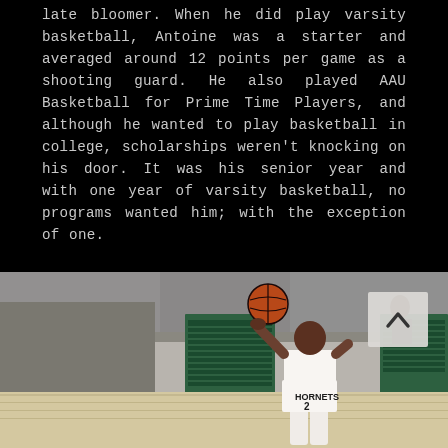late bloomer. When he did play varsity basketball, Antoine was a starter and averaged around 12 points per game as a shooting guard. He also played AAU Basketball for Prime Time Players, and although he wanted to play basketball in college, scholarships weren't knocking on his door. It was his senior year and with one year of varsity basketball, no programs wanted him; with the exception of one.
[Figure (photo): Basketball player wearing jersey number 2 shooting a basketball in a gym, with green banners on the wall in the background and a back-to-top button overlay in the top right corner.]